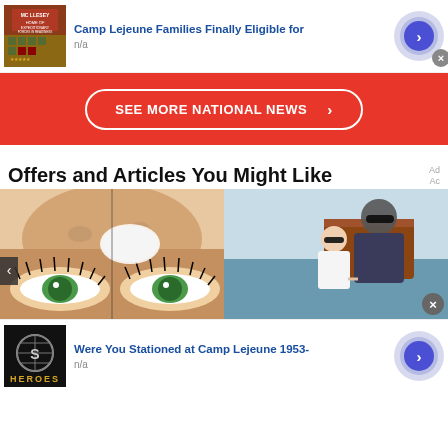[Figure (screenshot): Ad thumbnail: Camp Lejeune military base sign]
Camp Lejeune Families Finally Eligible for
n/a
[Figure (infographic): Red banner button: SEE MORE NATIONAL NEWS >]
Offers and Articles You Might Like
Ad
[Figure (illustration): Illustration of a woman's face close-up with green eyes]
[Figure (photo): Photo of a man and girl on a boat]
[Figure (screenshot): Ad thumbnail: Heroes logo black background]
Were You Stationed at Camp Lejeune 1953-
n/a